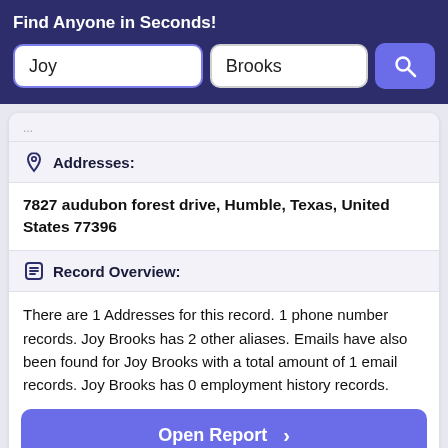Find Anyone in Seconds!
[Figure (screenshot): Search bar with first name 'Joy' and last name 'Brooks' input fields and a blue search button]
Addresses:
7827 audubon forest drive, Humble, Texas, United States 77396
Record Overview:
There are 1 Addresses for this record. 1 phone number records. Joy Brooks has 2 other aliases. Emails have also been found for Joy Brooks with a total amount of 1 email records. Joy Brooks has 0 employment history records.
Open Report >
Quick Overview